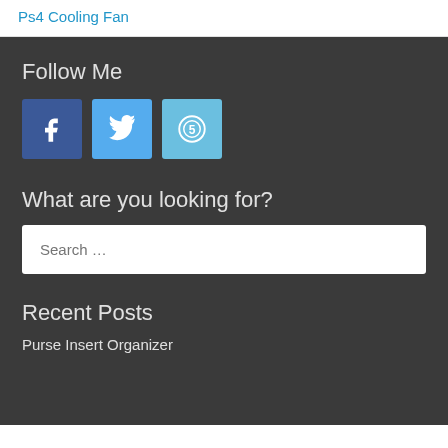Ps4 Cooling Fan
Follow Me
[Figure (other): Three social media icon buttons: Facebook (dark blue, f), Twitter (blue, bird), and a fifth icon (light blue, circle-5 symbol)]
What are you looking for?
Search …
Recent Posts
Purse Insert Organizer